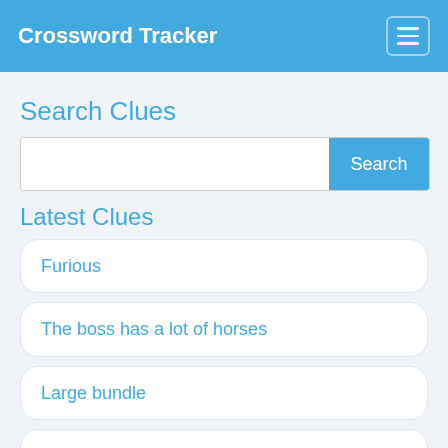Crossword Tracker
Search Clues
Search
Latest Clues
Furious
The boss has a lot of horses
Large bundle
What the tabloids call Susan Boyle's badly trained assistant
Lead dancer, ... ballerina